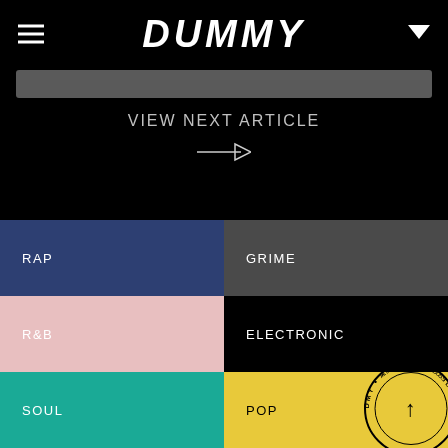DUMMY
[Figure (screenshot): Search bar input field]
VIEW NEXT ARTICLE →
RAP
GRIME
R&B
ELECTRONIC
SOUL
POP